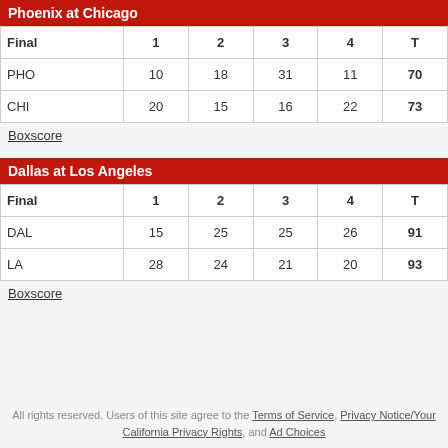Phoenix at Chicago
| Final | 1 | 2 | 3 | 4 | T |
| --- | --- | --- | --- | --- | --- |
| PHO | 10 | 18 | 31 | 11 | 70 |
| CHI | 20 | 15 | 16 | 22 | 73 |
Boxscore
Dallas at Los Angeles
| Final | 1 | 2 | 3 | 4 | T |
| --- | --- | --- | --- | --- | --- |
| DAL | 15 | 25 | 25 | 26 | 91 |
| LA | 28 | 24 | 21 | 20 | 93 |
Boxscore
All rights reserved. Users of this site agree to the Terms of Service, Privacy Notice/Your California Privacy Rights, and Ad Choices